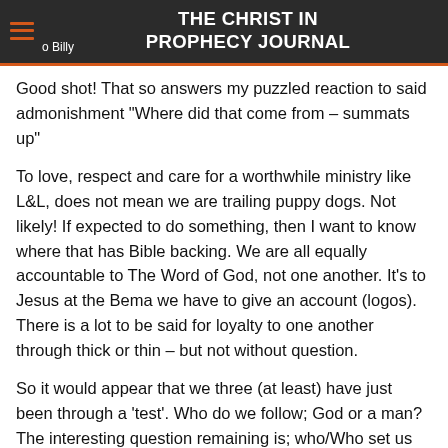THE CHRIST IN PROPHECY JOURNAL
Good shot! That so answers my puzzled reaction to said admonishment "Where did that come from – summats up"
To love, respect and care for a worthwhile ministry like L&L, does not mean we are trailing puppy dogs. Not likely! If expected to do something, then I want to know where that has Bible backing. We are all equally accountable to The Word of God, not one another. It's to Jesus at the Bema we have to give an account (logos). There is a lot to be said for loyalty to one another through thick or thin – but not without question.
So it would appear that we three (at least) have just been through a 'test'. Who do we follow; God or a man? The interesting question remaining is; who/Who set us up?